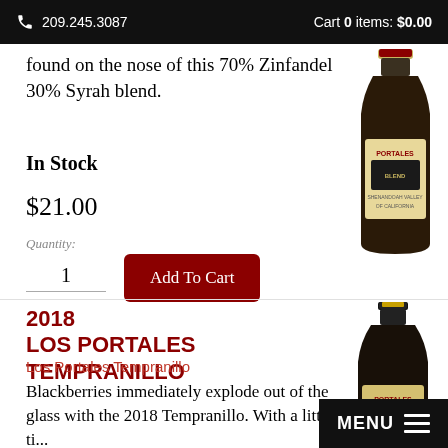209.245.3087   Cart 0 items: $0.00
found on the nose of this 70% Zinfandel 30% Syrah blend.
In Stock
$21.00
Quantity:
1
Add To Cart
[Figure (photo): Wine bottle for Los Portales Blend, dark bottle with label]
2018
LOS PORTALES TEMPRANILLO
Los Portales Tempranillo
Blackberries immediately explode out of the glass with the 2018 Tempranillo. With a little time...
[Figure (photo): Wine bottle for Los Portales Tempranillo, dark bottle]
MENU ≡